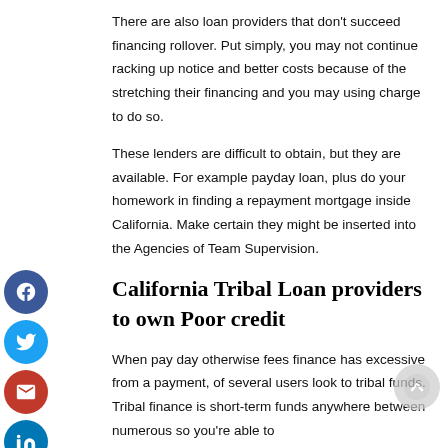There are also loan providers that don't succeed financing rollover. Put simply, you may not continue racking up notice and better costs because of the stretching their financing and you may using charge to do so.
These lenders are difficult to obtain, but they are available. For example payday loan, plus do your homework in finding a repayment mortgage inside California. Make certain they might be inserted into the Agencies of Team Supervision.
California Tribal Loan providers to own Poor credit
When pay day otherwise fees finance has excessive from a payment, of several users look to tribal funds. Tribal finance is short-term funds anywhere between numerous so you're able to